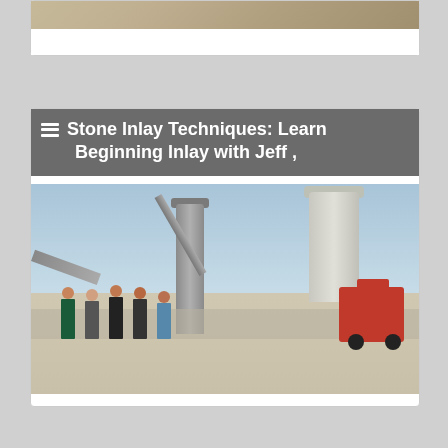[Figure (photo): Partial cropped photo at top of page showing a sandy/stone textured surface]
[Figure (photo): Industrial facility photo with large silos, conveyor belts, pipes, a red Toyota forklift, and five people standing in front of the equipment on a concrete surface under a blue sky]
Stone Inlay Techniques: Learn Beginning Inlay with Jeff ,